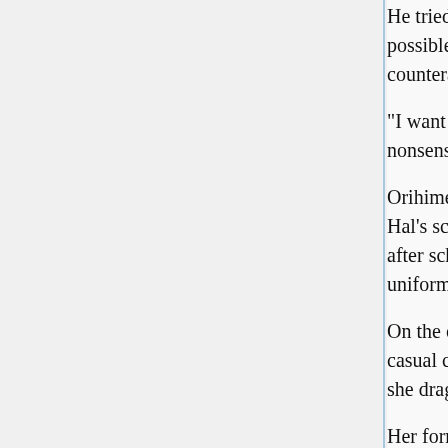He tried to avoid eye contact with her as much as possible, but the slightly agitated young lady counterattacked swiftly, going straight to the point.
"I want to talk alone in private. Cut the irrelevant nonsense and come with me!"
Orihime's soft palms forcefully grabbed the collar of Hal's school uniform. Due to coming here straight after school without changing, Hal was still in uniform.
On the other hand, Orihime had already changed into casual clothing. Forcibly pulling Hal up to his feet, she dragged him to the corridor.
Her formidable strength did not quite match her attire, a white cardigan with a flared skirt.
Consequently, before Asya and Orihime's grandfather could even react